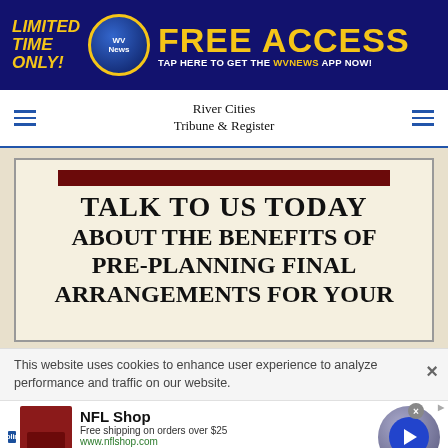[Figure (other): WVNews app promotional banner: 'LIMITED TIME ONLY! FREE ACCESS – TAP HERE TO GET THE WVNEWS APP NOW!' on dark blue background with yellow text and WV logo circle.]
River Cities Tribune & Register
[Figure (other): Funeral home advertisement: 'TALK TO US TODAY ABOUT THE BENEFITS OF PRE-PLANNING FINAL ARRANGEMENTS FOR YOUR...' on cream background with dark red bar at top.]
This website uses cookies to enhance user experience to analyze performance and traffic on our website.
[Figure (other): NFL Shop advertisement: Free shipping on orders over $25. www.nflshop.com. SHOP NOW button. With maroon jersey image and circular play button.]